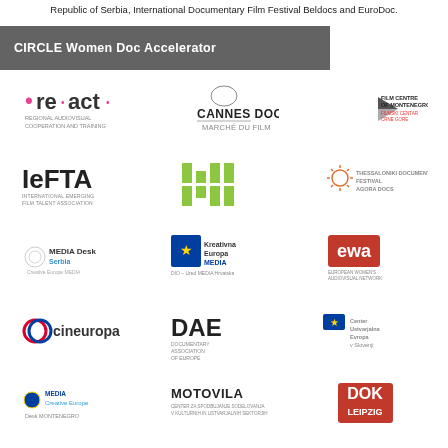Republic of Serbia, International Documentary Film Festival Beldocs and EuroDoc.
CIRCLE Women Doc Accelerator
[Figure (logo): re:act – Regional Audiovisual Cooperation and Training logo]
[Figure (logo): Cannes Docs – Marché du Film logo]
[Figure (logo): Film Centre of Montenegro logo]
[Figure (logo): IEFTA – International Emerging Film Talent Association logo]
[Figure (logo): WE MW logo (green stylized letters)]
[Figure (logo): Thessaloniki Documentary Festival & Agora Docs logo]
[Figure (logo): MEDIA Desk Serbia – Creative Europe MEDIA logo]
[Figure (logo): Kreativna Europa MEDIA – DIO – Ured MEDIA Hrvatska logo]
[Figure (logo): ewa – European Women's Audiovisual Network logo]
[Figure (logo): cineuropa logo]
[Figure (logo): DAE – Documentary Association of Europe logo]
[Figure (logo): Center Ustvarjalna Evropa v Slovenji logo]
[Figure (logo): MEDIA Creative Europe Desk Montenegro logo]
[Figure (logo): Motovila – Center za spodbujanje sodelovanJa v kulturnih in ustvarjalnih sektorjih logo]
[Figure (logo): DOK Leipzig logo]
[Figure (logo): Republic of Serbia – Ministry of Culture and Media logo]
[Figure (logo): BEL DOCS – International Documentary Film Festival logo]
[Figure (logo): EuroDoc – International Lab for Creative Documentary Production logo]